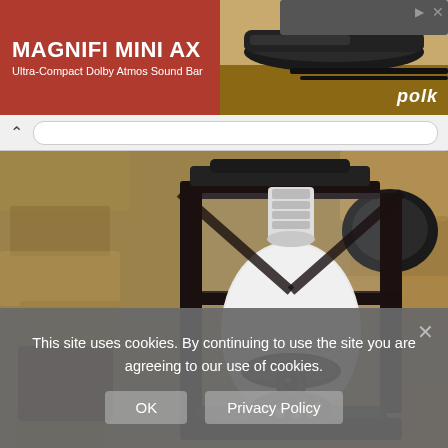[Figure (advertisement): Ad banner for Polk Audio MAGNIFI MINI AX Ultra-Compact Dolby Atmos Sound Bar with product image on right and polk logo]
[Figure (photo): Close-up photo of an outdoor wall lantern fixture with a smart security camera bulb installed inside, mounted on a textured stone/stucco wall]
This site uses cookies. By continuing to use the site you are agreeing to our use of cookies.
OK   Privacy Policy